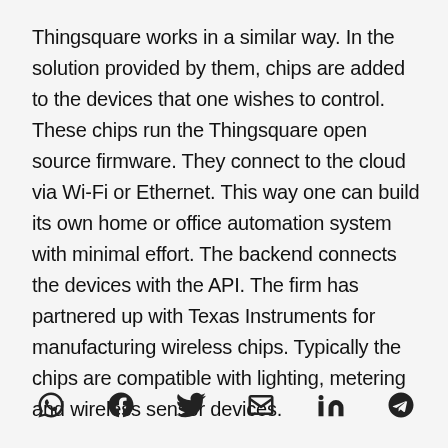Thingsquare works in a similar way. In the solution provided by them, chips are added to the devices that one wishes to control. These chips run the Thingsquare open source firmware. They connect to the cloud via Wi-Fi or Ethernet. This way one can build its own home or office automation system with minimal effort. The backend connects the devices with the API. The firm has partnered up with Texas Instruments for manufacturing wireless chips. Typically the chips are compatible with lighting, metering and wireless sensor devices.
[Figure (other): Row of six social sharing icons: WhatsApp, Facebook, Twitter, Email (envelope), LinkedIn, Telegram]